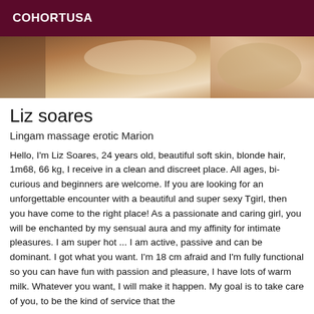COHORTUSA
[Figure (photo): Cropped photo showing a person lying on bedding, partial body view in warm tones]
Liz soares
Lingam massage erotic Marion
Hello, I'm Liz Soares, 24 years old, beautiful soft skin, blonde hair, 1m68, 66 kg, I receive in a clean and discreet place. All ages, bi-curious and beginners are welcome. If you are looking for an unforgettable encounter with a beautiful and super sexy Tgirl, then you have come to the right place! As a passionate and caring girl, you will be enchanted by my sensual aura and my affinity for intimate pleasures. I am super hot ... I am active, passive and can be dominant. I got what you want. I'm 18 cm afraid and I'm fully functional so you can have fun with passion and pleasure, I have lots of warm milk. Whatever you want, I will make it happen. My goal is to take care of you, to be the kind of service that the